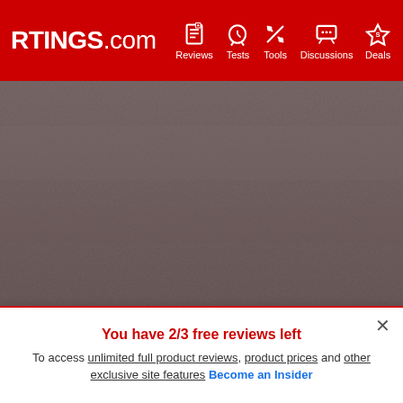RTINGS.com | Reviews | Tests | Tools | Discussions | Deals
[Figure (photo): Close-up photo of a dark brownish-gray textured surface used for camera sharpness testing at ISO 800]
JPEG Sharpness At ISO 800  2.4243 pixels
[Figure (photo): Close-up photo of a pinkish-beige and dark brown textured surface used for camera JPEG sharpness testing at ISO 800]
You have 2/3 free reviews left
To access unlimited full product reviews, product prices and other exclusive site features Become an Insider